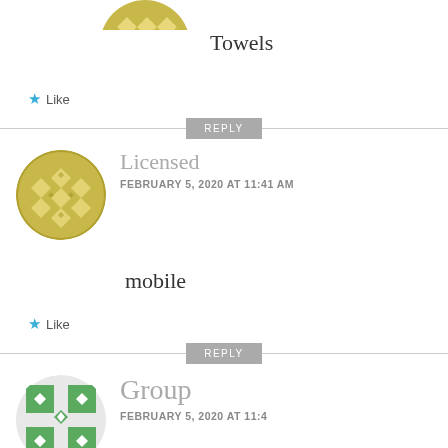[Figure (illustration): Partial avatar icon at top, olive/yellow-green geometric diamond quilt pattern, cropped at top]
Towels
★ Like
REPLY
[Figure (illustration): Circular avatar with olive/tan geometric diamond quilt pattern for user 'Licensed']
Licensed
FEBRUARY 5, 2020 AT 11:41 AM
mobile
★ Like
REPLY
[Figure (illustration): Partial circular avatar with green geometric pattern for user 'Group', cropped at bottom]
Group
FEBRUARY 5, 2020 AT 11:41 AM (partial)